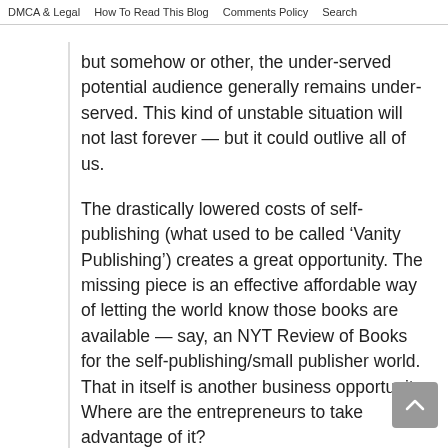DMCA & Legal   How To Read This Blog   Comments Policy   Search
but somehow or other, the under-served potential audience generally remains under-served. This kind of unstable situation will not last forever — but it could outlive all of us.
The drastically lowered costs of self-publishing (what used to be called ‘Vanity Publishing’) creates a great opportunity. The missing piece is an effective affordable way of letting the world know those books are available — say, an NYT Review of Books for the self-publishing/small publisher world. That in itself is another business opportunity. Where are the entrepreneurs to take advantage of it?